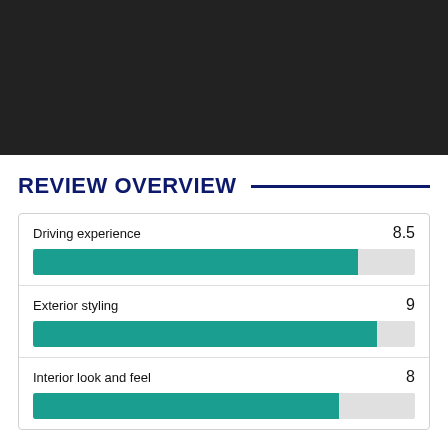[Figure (photo): Dark/black rectangular image area at top of page]
REVIEW OVERVIEW
[Figure (bar-chart): Review Overview]